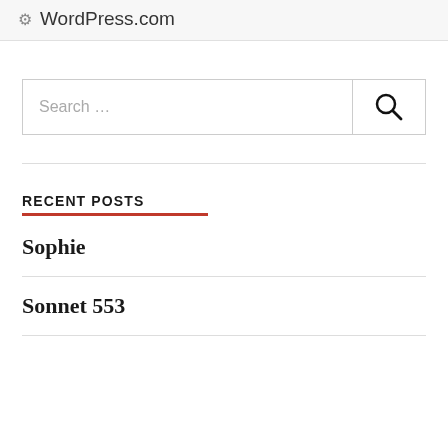WordPress.com
[Figure (screenshot): Search input box with placeholder text 'Search ...' and a magnifying glass search button on the right]
RECENT POSTS
Sophie
Sonnet 553